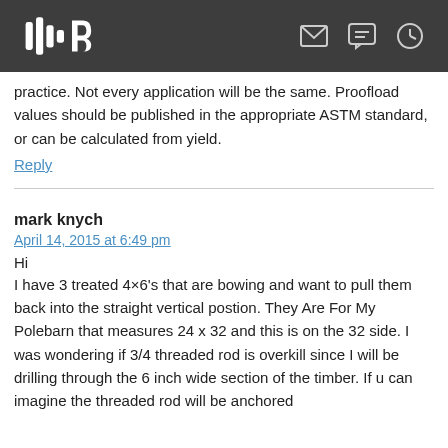practice. Not every application will be the same. Proofload values should be published in the appropriate ASTM standard, or can be calculated from yield.
Reply
mark knych
April 14, 2015 at 6:49 pm
Hi
I have 3 treated 4×6's that are bowing and want to pull them back into the straight vertical postion. They Are For My Polebarn that measures 24 x 32 and this is on the 32 side. I was wondering if 3/4 threaded rod is overkill since I will be drilling through the 6 inch wide section of the timber. If u can imagine the threaded rod will be anchored